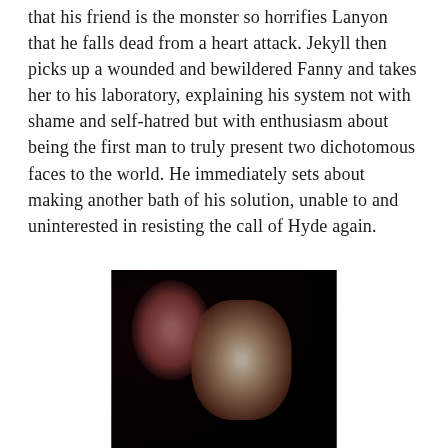that his friend is the monster so horrifies Lanyon that he falls dead from a heart attack. Jekyll then picks up a wounded and bewildered Fanny and takes her to his laboratory, explaining his system not with shame and self-hatred but with enthusiasm about being the first man to truly present two dichotomous faces to the world. He immediately sets about making another bath of his solution, unable to and uninterested in resisting the call of Hyde again.
[Figure (photo): A dark cinematic still showing two figures — one lying down with reddish tones, another leaning over them dressed in light clothing, against a very dark background.]